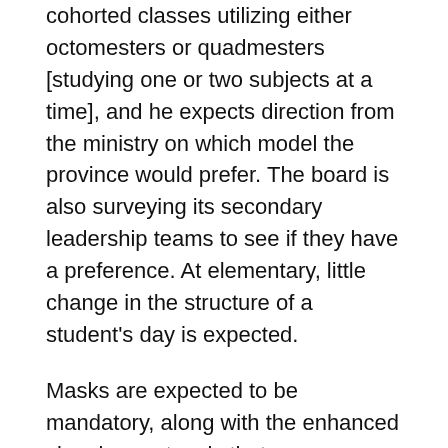cohorted classes utilizing either octomesters or quadmesters [studying one or two subjects at a time], and he expects direction from the ministry on which model the province would prefer. The board is also surveying its secondary leadership teams to see if they have a preference. At elementary, little change in the structure of a student's day is expected.
Masks are expected to be mandatory, along with the enhanced cleaning protocols that were seen right across the board this year.
Trustee Louise Clodd asked Hahn if they are considering a hybrid form of delivery next year that would have a teacher instructing students in and out of class.
“We are not considering a hybrid model for next year,” Hahn said.